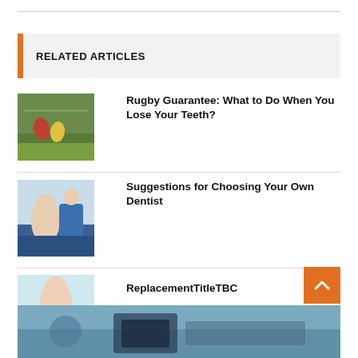RELATED ARTICLES
[Figure (photo): Rugby players on a field]
Rugby Guarantee: What to Do When You Lose Your Teeth?
[Figure (photo): Dentist treating a patient]
Suggestions for Choosing Your Own Dentist
[Figure (photo): Patient at dentist with mouth open]
ReplacementTitleTBC
[Figure (photo): Dental equipment close-up at bottom of page]